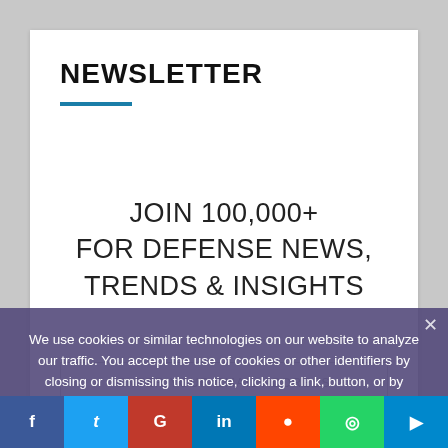NEWSLETTER
JOIN 100,000+
FOR DEFENSE NEWS,
TRENDS & INSIGHTS
ENTER YOUR EMAIL ADDRESS
SUBSCRIBE
We use cookies or similar technologies on our website to analyze our traffic. You accept the use of cookies or other identifiers by closing or dismissing this notice, clicking a link, button, or by continuing to browse this website.
AGREE